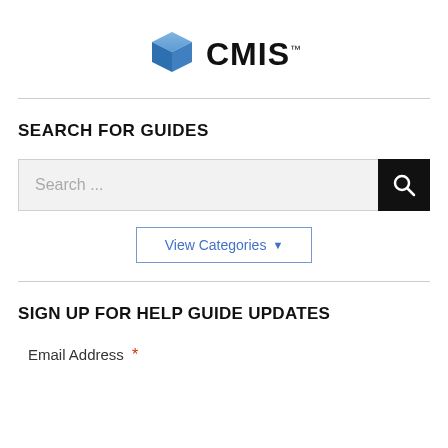[Figure (logo): CMIS logo with blue 3D cube icon on the left and bold text CMIS with trademark symbol]
SEARCH FOR GUIDES
[Figure (screenshot): Search input field with placeholder text 'Search...' and a black search button with magnifying glass icon]
View Categories ▼
SIGN UP FOR HELP GUIDE UPDATES
Email Address *